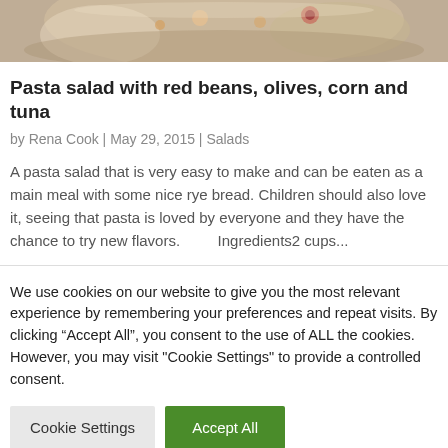[Figure (photo): Top portion of a food photo showing a bowl with pasta salad containing red beans, olives, corn and tuna — partially cropped at top of page]
Pasta salad with red beans, olives, corn and tuna
by Rena Cook | May 29, 2015 | Salads
A pasta salad that is very easy to make and can be eaten as a main meal with some nice rye bread. Children should also love it, seeing that pasta is loved by everyone and they have the chance to try new flavors.        Ingredients2 cups...
We use cookies on our website to give you the most relevant experience by remembering your preferences and repeat visits. By clicking “Accept All”, you consent to the use of ALL the cookies. However, you may visit "Cookie Settings" to provide a controlled consent.
Cookie Settings
Accept All